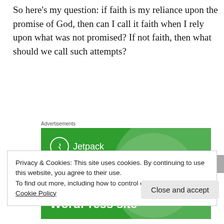So here's my question: if faith is my reliance upon the promise of God, then can I call it faith when I rely upon what was not promised? If not faith, then what should we call such attempts?
Advertisements
[Figure (screenshot): Jetpack advertisement banner showing logo and text 'Like an undo button for your WordPress site' on a green background]
Privacy & Cookies: This site uses cookies. By continuing to use this website, you agree to their use.
To find out more, including how to control cookies, see here: Cookie Policy
Close and accept